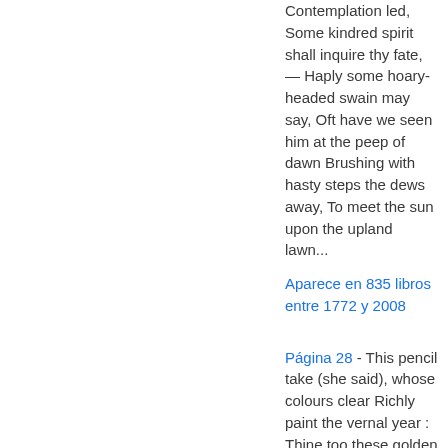Contemplation led, Some kindred spirit shall inquire thy fate, — Haply some hoary-headed swain may say, Oft have we seen him at the peep of dawn Brushing with hasty steps the dews away, To meet the sun upon the upland lawn...
Aparece en 835 libros entre 1772 y 2008
Página 28 - This pencil take (she said), whose colours clear Richly paint the vernal year : Thine too these golden keys, immortal Boy ! This can unlock the gates of joy ; Of horror that, and thrilling fears, Or ope the sacred source of